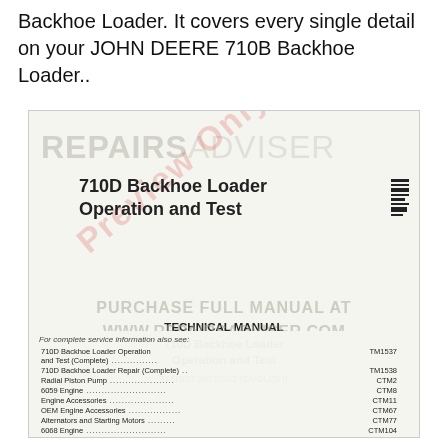Backhoe Loader. It covers every single detail on your JOHN DEERE 710B Backhoe Loader..
[Figure (illustration): Preview image of the John Deere 710D Backhoe Loader Operation and Test Technical Manual cover page, with REPAIRSADVISER watermark and 'Preview Only' overlay. Shows manual title '710D Backhoe Loader Operation and Test' and technical manual details including TM1537 26FEB02 (ENGLISH), plus a service information reference table listing related manuals.]